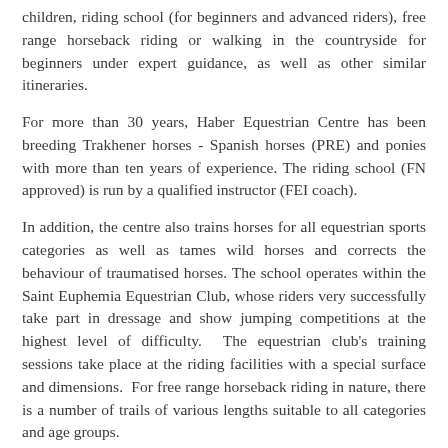children, riding school (for beginners and advanced riders), free range horseback riding or walking in the countryside for beginners under expert guidance, as well as other similar itineraries.
For more than 30 years, Haber Equestrian Centre has been breeding Trakhener horses - Spanish horses (PRE) and ponies with more than ten years of experience. The riding school (FN approved) is run by a qualified instructor (FEI coach).
In addition, the centre also trains horses for all equestrian sports categories as well as tames wild horses and corrects the behaviour of traumatised horses. The school operates within the Saint Euphemia Equestrian Club, whose riders very successfully take part in dressage and show jumping competitions at the highest level of difficulty. The equestrian club's training sessions take place at the riding facilities with a special surface and dimensions. For free range horseback riding in nature, there is a number of trails of various lengths suitable to all categories and age groups.